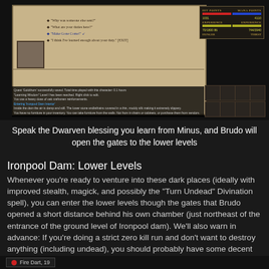[Figure (screenshot): Game screenshot showing a dialogue interface with character avatar, dialogue options including 'Make Gone Come', stat bars for Hit Points and Mana Points, and a game log at the bottom with inventory grid]
Speak the Dwarven blessing you learn from Minus, and Brudo will open the gates to the lower levels
Ironpool Dam: Lower Levels
Whenever you're ready to venture into these dark places (ideally with improved stealth, magick, and possibly the "Turn Undead" Divination spell), you can enter the lower levels though the gates that Brudo opened a short distance behind his own chamber (just northeast of the entrance of the ground level of Ironpool dam). We'll also warn in advance: If you're doing a strict zero kill run and don't want to destroy anything (including undead), you should probably have some decent lock picking skill in order to claim the Cerulescent Bell and several other treasures you can find by descending toward Lost Westwillow....
[Figure (screenshot): Partial game screenshot showing bottom portion with Fire Dart item label]